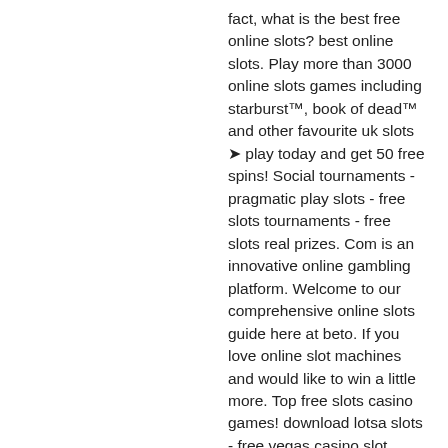fact, what is the best free online slots? best online slots. Play more than 3000 online slots games including starburst™, book of dead™ and other favourite uk slots ➤ play today and get 50 free spins! Social tournaments - pragmatic play slots - free slots tournaments - free slots real prizes. Com is an innovative online gambling platform. Welcome to our comprehensive online slots guide here at beto. If you love online slot machines and would like to win a little more. Top free slots casino games! download lotsa slots - free vegas casino slot machines now! play casino slots machines with game coin rounds and free spins. Play the best free casino games and online slots at station casinos! our games include blackjack, roulette video poker, keno, baccarat and more! Better still, there are two ways to enjoy free online slots. You